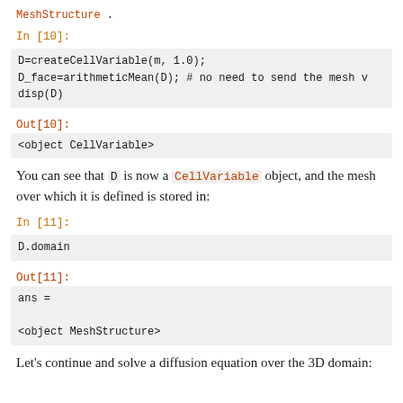MeshStructure .
In [10]:
D=createCellVariable(m, 1.0);
D_face=arithmeticMean(D); # no need to send the mesh v
disp(D)
Out[10]:
<object CellVariable>
You can see that D is now a CellVariable object, and the mesh over which it is defined is stored in:
In [11]:
D.domain
Out[11]:
ans =

<object MeshStructure>
Let's continue and solve a diffusion equation over the 3D domain: